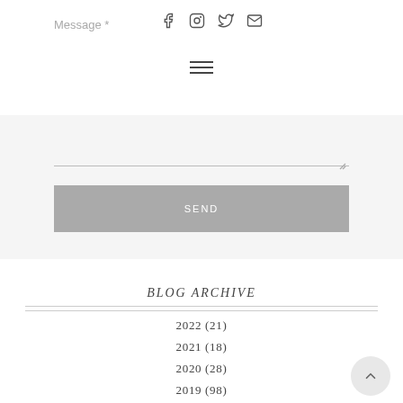Message *
[Figure (other): Social media icons: Facebook, Instagram, Twitter, Email]
[Figure (other): Hamburger menu icon (three horizontal lines)]
SEND
BLOG ARCHIVE
2022 (21)
2021 (18)
2020 (28)
2019 (98)